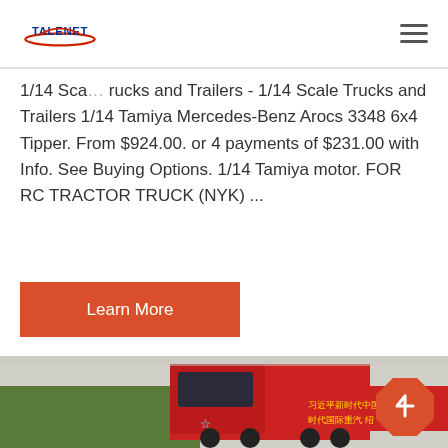TALENET (logo) | hamburger menu
1/14 Scale Trucks and Trailers - 1/14 Scale Trucks and Trailers 1/14 Tamiya Mercedes-Benz Arocs 3348 6x4 Tipper. From $924.00. or 4 payments of $231.00 with Info. See Buying Options. 1/14 Tamiya motor. FOR RC TRACTOR TRUCK (NYK) ...
Learn More
[Figure (photo): Red heavy-duty truck (Sinotruk/HOWO) on a road with Chinese text banner and green hills in the background]